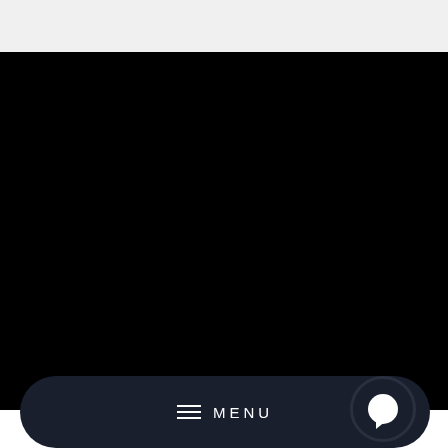[Figure (screenshot): Top browser/app bar area with light gray background]
[Figure (screenshot): Large black area representing a darkened video or image content area]
[Figure (screenshot): Dark rounded navigation bar at the bottom with hamburger menu icon, MENU text, and a chat bubble button on the right]